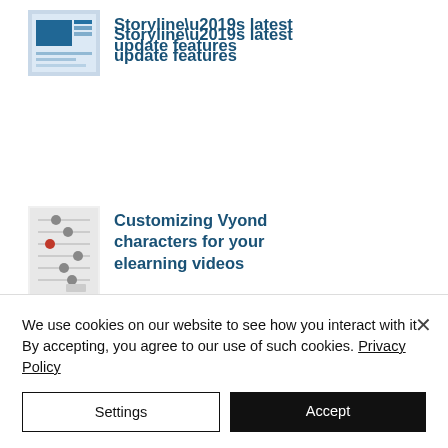Storyline’s latest update features
Customizing Vyond characters for your elearning videos
Learner Control in
We use cookies on our website to see how you interact with it. By accepting, you agree to our use of such cookies. Privacy Policy
Settings
Accept